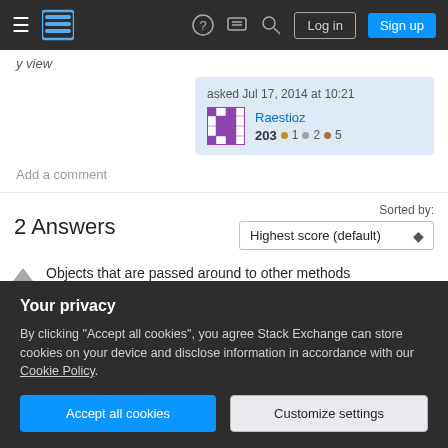Stack Exchange navigation bar with hamburger menu, logo, help, chat, search icons, Log in and Sign up buttons
asked Jul 17, 2014 at 10:21
Raestioz
203 ●1 ●2 ●5
Add a comment
2 Answers
Sorted by: Highest score (default)
Objects that are passed around to other methods
Your privacy
By clicking "Accept all cookies", you agree Stack Exchange can store cookies on your device and disclose information in accordance with our Cookie Policy.
Accept all cookies  Customize settings